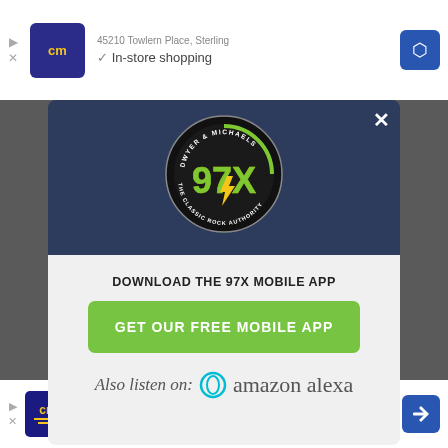[Figure (screenshot): Top advertisement banner showing a store logo (cm) with address '45210 Towlern Place, Sterling' and 'In-store shopping' checkbox, plus a blue navigation arrow on the right]
[Figure (logo): 97X Dwyer & Michaels radio station logo circle - The Classic Rock Authority, with green and yellow '97X' text and lightning bolt on dark background]
DOWNLOAD THE 97X MOBILE APP
GET OUR FREE MOBILE APP
Also listen on: amazon alexa
[Figure (screenshot): Bottom advertisement banner showing cm store logo, 'Sterling OPEN | 10AM-9PM', '45210 Towlern Place, Sterling', and a blue navigation arrow]